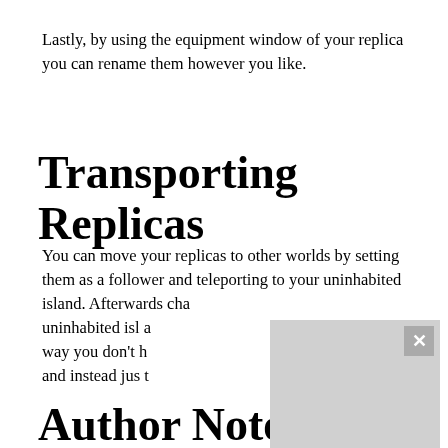Lastly, by using the equipment window of your replica you can rename them however you like.
Transporting Replicas
You can move your replicas to other worlds by setting them as a follower and teleporting to your uninhabited island. Afterwards cha[r...] uninhabited isla[nd...] way you don't h[ave to...] and instead jus[t...]
[Figure (screenshot): Video player overlay with a gray background, a close button (X) in the top right corner, and playback controls (play and mute buttons) at the bottom left.]
Author Notes